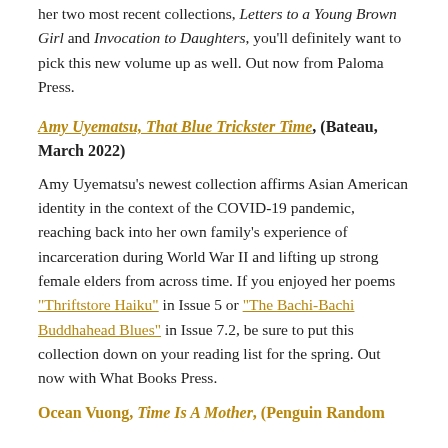her two most recent collections, Letters to a Young Brown Girl and Invocation to Daughters, you'll definitely want to pick this new volume up as well. Out now from Paloma Press.
Amy Uyematsu, That Blue Trickster Time, (Bateau, March 2022)
Amy Uyematsu's newest collection affirms Asian American identity in the context of the COVID-19 pandemic, reaching back into her own family's experience of incarceration during World War II and lifting up strong female elders from across time. If you enjoyed her poems "Thriftstore Haiku" in Issue 5 or "The Bachi-Bachi Buddhahead Blues" in Issue 7.2, be sure to put this collection down on your reading list for the spring. Out now with What Books Press.
Ocean Vuong, Time Is A Mother, (Penguin Random